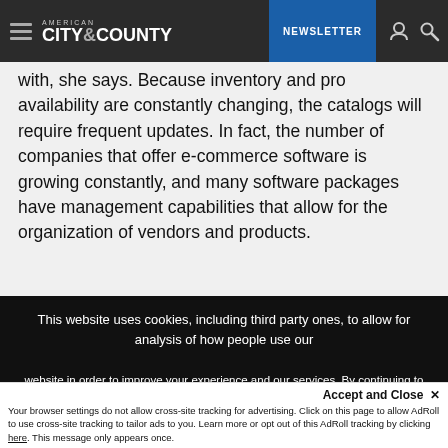AMERICAN CITY & COUNTY — NEWSLETTER
with, she says. Because inventory and product availability are constantly changing, the catalogs will require frequent updates. In fact, the number of companies that offer e-commerce software is growing constantly, and many software packages have management capabilities that allow for the organization of vendors and products.
This website uses cookies, including third party ones, to allow for analysis of how people use our website in order to improve your experience and our services. By continuing to use our website, you agree to the use of such cookies. Click here for more information on our Cookie Policy and Privacy Policy
Accept and Close ✕
Your browser settings do not allow cross-site tracking for advertising. Click on this page to allow AdRoll to use cross-site tracking to tailor ads to you. Learn more or opt out of this AdRoll tracking by clicking here. This message only appears once.